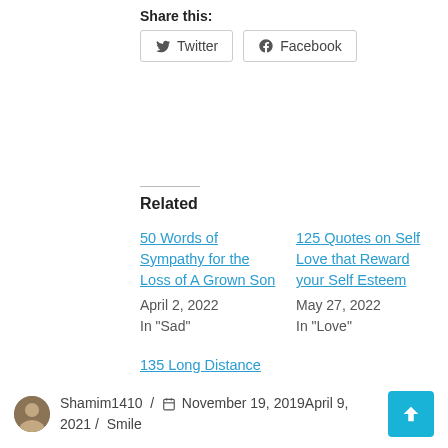Share this:
Twitter   Facebook
Related
50 Words of Sympathy for the Loss of A Grown Son
April 2, 2022
In "Sad"
125 Quotes on Self Love that Reward your Self Esteem
May 27, 2022
In "Love"
135 Long Distance Funny Birthday Wishes for Best Friend
April 5, 2022
In "Friendship"
Shamim1410 / November 19, 2019April 9, 2021 / Smile